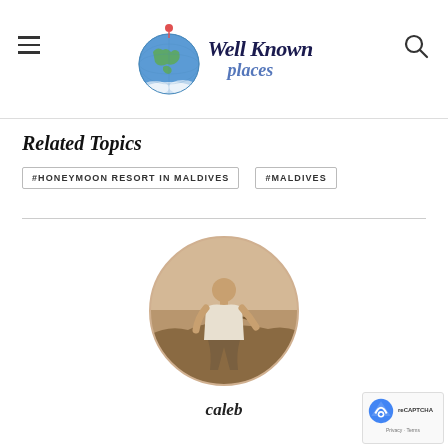Well Known places
Related Topics
#HONEYMOON RESORT IN MALDIVES   #MALDIVES
[Figure (photo): Circular profile photo of a young man in a white t-shirt standing outdoors in a sepia-toned image]
caleb